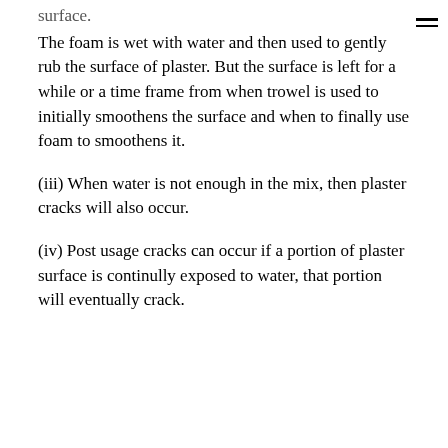surface.
The foam is wet with water and then used to gently rub the surface of plaster. But the surface is left for a while or a time frame from when trowel is used to initially smoothens the surface and when to finally use foam to smoothens it.
(iii) When water is not enough in the mix, then plaster cracks will also occur.
(iv) Post usage cracks can occur if a portion of plaster surface is continully exposed to water, that portion will eventually crack.